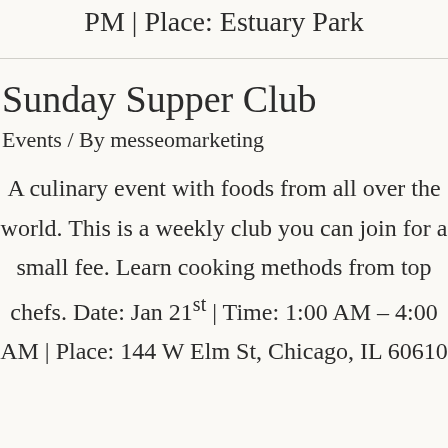PM | Place: Estuary Park
Sunday Supper Club
Events / By messeomarketing
A culinary event with foods from all over the world. This is a weekly club you can join for a small fee. Learn cooking methods from top chefs. Date: Jan 21st | Time: 1:00 AM – 4:00 AM | Place: 144 W Elm St, Chicago, IL 60610